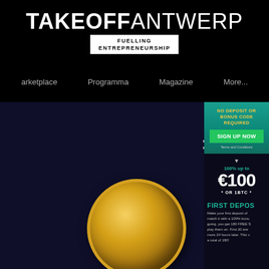TAKEOFFANTWERP – FUELLING ENTREPRENEURSHIP
Marketplace   Programma   Magazine   More...
NO DEPOSIT OR
BONUS CODE REQUIRED
SIGN UP NOW
Terms and Conditions
100% up to
€100
* OR 1BTC *
FIRST DEPOS
Make your first deposit of match it with a 100% bonu going, you get 180 FREE S play them on. First 20 are more 24 hours later. This v a total of 180!